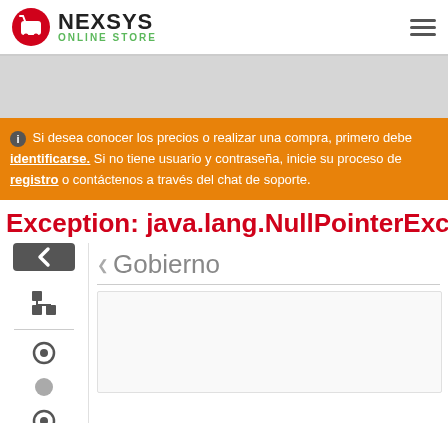[Figure (logo): Nexsys Online Store logo with shopping cart icon]
ℹ Si desea conocer los precios o realizar una compra, primero debe identificarse. Si no tiene usuario y contraseña, inicie su proceso de registro o contáctenos a través del chat de soporte.
Exception: java.lang.NullPointerException
Gobierno